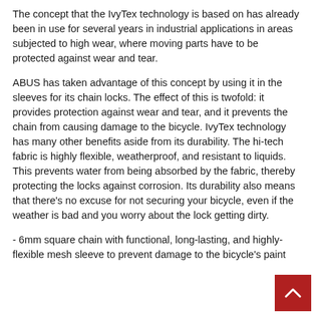The concept that the IvyTex technology is based on has already been in use for several years in industrial applications in areas subjected to high wear, where moving parts have to be protected against wear and tear.
ABUS has taken advantage of this concept by using it in the sleeves for its chain locks. The effect of this is twofold: it provides protection against wear and tear, and it prevents the chain from causing damage to the bicycle. IvyTex technology has many other benefits aside from its durability. The hi-tech fabric is highly flexible, weatherproof, and resistant to liquids. This prevents water from being absorbed by the fabric, thereby protecting the locks against corrosion. Its durability also means that there's no excuse for not securing your bicycle, even if the weather is bad and you worry about the lock getting dirty.
- 6mm square chain with functional, long-lasting, and highly-flexible mesh sleeve to prevent damage to the bicycle's paint